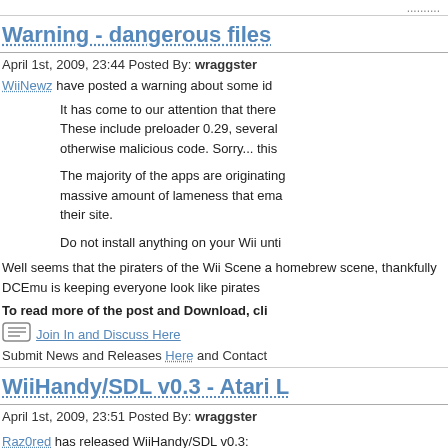..........
Warning - dangerous files
April 1st, 2009, 23:44 Posted By: wraggster
WiiNewz have posted a warning about some id
It has come to our attention that there
These include preloader 0.29, several
otherwise malicious code. Sorry... this
The majority of the apps are originating
massive amount of lameness that ema
their site.
Do not install anything on your Wii unti
Well seems that the piraters of the Wii Scene a homebrew scene, thankfully DCEmu is keeping everyone look like pirates
To read more of the post and Download, cli
Join In and Discuss Here
Submit News and Releases Here and Contact
WiiHandy/SDL v0.3 - Atari L
April 1st, 2009, 23:51 Posted By: wraggster
Raz0red has released WiiHandy/SDL v0.3: